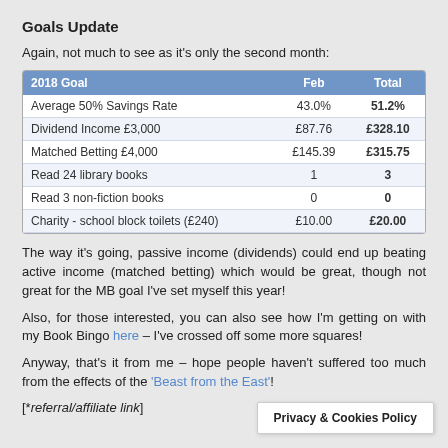Goals Update
Again, not much to see as it's only the second month:
| 2018 Goal | Feb | Total |
| --- | --- | --- |
| Average 50% Savings Rate | 43.0% | 51.2% |
| Dividend Income £3,000 | £87.76 | £328.10 |
| Matched Betting £4,000 | £145.39 | £315.75 |
| Read 24 library books | 1 | 3 |
| Read 3 non-fiction books | 0 | 0 |
| Charity - school block toilets (£240) | £10.00 | £20.00 |
The way it's going, passive income (dividends) could end up beating active income (matched betting) which would be great, though not great for the MB goal I've set myself this year!
Also, for those interested, you can also see how I'm getting on with my Book Bingo here – I've crossed off some more squares!
Anyway, that's it from me – hope people haven't suffered too much from the effects of the 'Beast from the East'!
[*referral/affiliate link]
Privacy & Cookies Policy